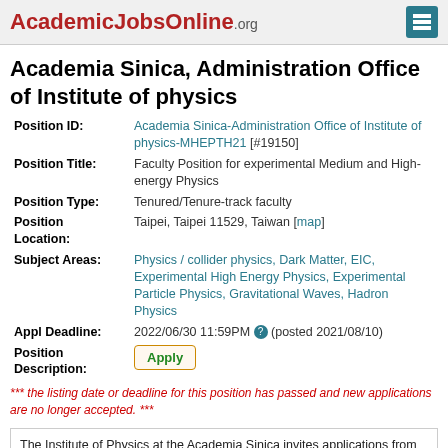AcademicJobsOnline.org
Academia Sinica, Administration Office of Institute of physics
| Field | Value |
| --- | --- |
| Position ID: | Academia Sinica-Administration Office of Institute of physics-MHEPTH21 [#19150] |
| Position Title: | Faculty Position for experimental Medium and High-energy Physics |
| Position Type: | Tenured/Tenure-track faculty |
| Position Location: | Taipei, Taipei 11529, Taiwan [map] |
| Subject Areas: | Physics / collider physics, Dark Matter, EIC, Experimental High Energy Physics, Experimental Particle Physics, Gravitational Waves, Hadron Physics |
| Appl Deadline: | 2022/06/30 11:59PM (posted 2021/08/10) |
| Position Description: | Apply |
*** the listing date or deadline for this position has passed and new applications are no longer accepted. ***
The Institute of Physics at the Academia Sinica invites applications from outstanding experimental physicists for a tenure-track faculty position in the Medium and High-energy Physics (MHEP) Group to